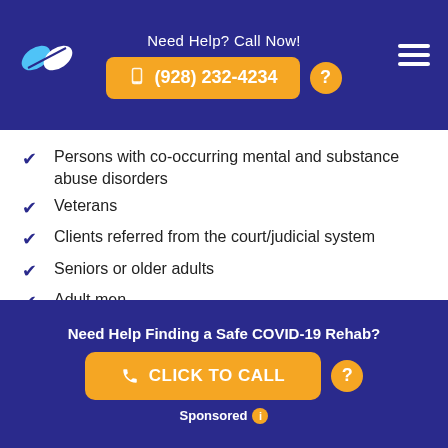Need Help? Call Now! (928) 232-4234
Persons with co-occurring mental and substance abuse disorders
Veterans
Clients referred from the court/judicial system
Seniors or older adults
Adult men
Persons who have experienced trauma
Persons who have experienced sexual abuse
Need Help Finding a Safe COVID-19 Rehab? CLICK TO CALL Sponsored